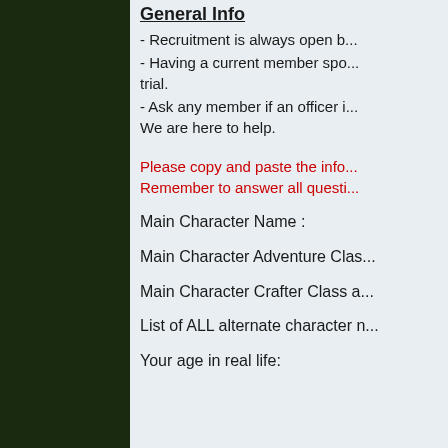General Info
- Recruitment is always open b...
- Having a current member spo... trial.
- Ask any member if an officer i... We are here to help.
Please copy and paste the info...
Remember to answer all questi...
Main Character Name :
Main Character Adventure Clas...
Main Character Crafter Class a...
List of ALL alternate character n...
Your age in real life: